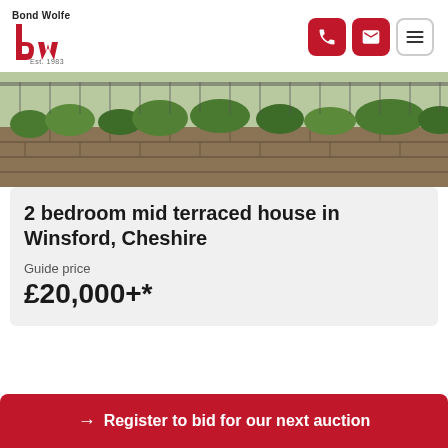[Figure (logo): Bond Wolfe logo with red 'bw' stylized letters and text 'Bond Wolfe Est. 1983']
[Figure (photo): Exterior photo of a stone wall with vegetation and fence in background, front view of terraced house area in Winsford, Cheshire]
2 bedroom mid terraced house in Winsford, Cheshire
Guide price
£20,000+*
→ Register to bid for our next auction